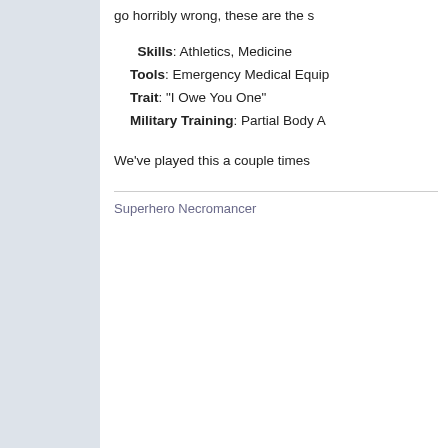go horribly wrong, these are the s
Skills: Athletics, Medicine
Tools: Emergency Medical Equip
Trait: "I Owe You One"
Military Training: Partial Body A
We've played this a couple times
Superhero Necromancer
LibraryLass
Falsehood to the downtrod
Hero Member
Posts: 917
[5e/D&D] Backgrounds - t backgrounds!
« Reply #2 on: August 16, 2014, 05:06
Courtney Camp's been doing a w
http://rachelghoulgamestuff.blogspot.cc
Rachel Bonuses: Now with pretty
Quote from: noisms
I get depressed, suicidal and aggressi